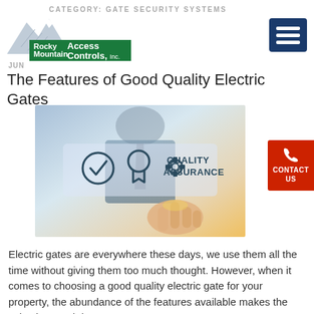CATEGORY: GATE SECURITY SYSTEMS
[Figure (logo): Rocky Mountain Access Controls, Inc. logo with mountain graphic and green text banner]
[Figure (other): Hamburger menu button (three horizontal lines) on dark blue background]
JUN
The Features of Good Quality Electric Gates
[Figure (photo): A hand pressing a virtual button showing quality assurance icons including a checkmark badge, award ribbon, and gear icons, with text QUALITY ASSURANCE]
[Figure (other): Contact Us button in red with phone icon]
Electric gates are everywhere these days, we use them all the time without giving them too much thought. However, when it comes to choosing a good quality electric gate for your property, the abundance of the features available makes the selection much less